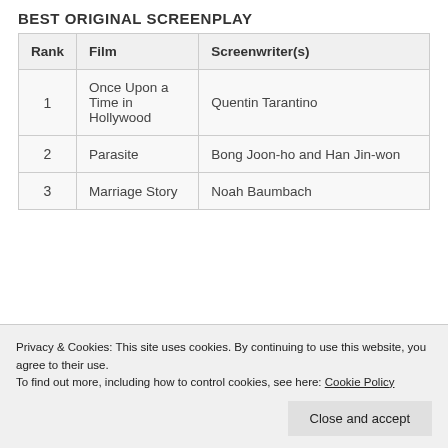BEST ORIGINAL SCREENPLAY
| Rank | Film | Screenwriter(s) |
| --- | --- | --- |
| 1 | Once Upon a Time in Hollywood | Quentin Tarantino |
| 2 | Parasite | Bong Joon-ho and Han Jin-won |
| 3 | Marriage Story | Noah Baumbach |
Privacy & Cookies: This site uses cookies. By continuing to use this website, you agree to their use.
To find out more, including how to control cookies, see here: Cookie Policy
Close and accept